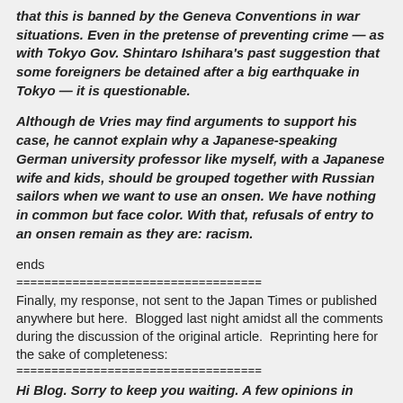that this is banned by the Geneva Conventions in war situations. Even in the pretense of preventing crime — as with Tokyo Gov. Shintaro Ishihara's past suggestion that some foreigners be detained after a big earthquake in Tokyo — it is questionable.
Although de Vries may find arguments to support his case, he cannot explain why a Japanese-speaking German university professor like myself, with a Japanese wife and kids, should be grouped together with Russian sailors when we want to use an onsen. We have nothing in common but face color. With that, refusals of entry to an onsen remain as they are: racism.
ends
===================================
Finally, my response, not sent to the Japan Times or published anywhere but here.  Blogged last night amidst all the comments during the discussion of the original article.  Reprinting here for the sake of completeness:
===================================
Hi Blog. Sorry to keep you waiting. A few opinions in addition to the analysis offered above (thanks to everyone for commenting):